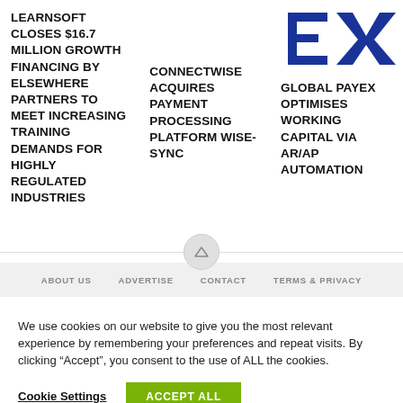LEARNSOFT CLOSES $16.7 MILLION GROWTH FINANCING BY ELSEWHERE PARTNERS TO MEET INCREASING TRAINING DEMANDS FOR HIGHLY REGULATED INDUSTRIES
CONNECTWISE ACQUIRES PAYMENT PROCESSING PLATFORM WISE-SYNC
[Figure (logo): Global PayEX logo — blue stylized 'EX' letters]
GLOBAL PAYEX OPTIMISES WORKING CAPITAL VIA AR/AP AUTOMATION
ABOUT US   ADVERTISE   CONTACT   TERMS & PRIVACY
We use cookies on our website to give you the most relevant experience by remembering your preferences and repeat visits. By clicking "Accept", you consent to the use of ALL the cookies.
Cookie Settings   ACCEPT ALL